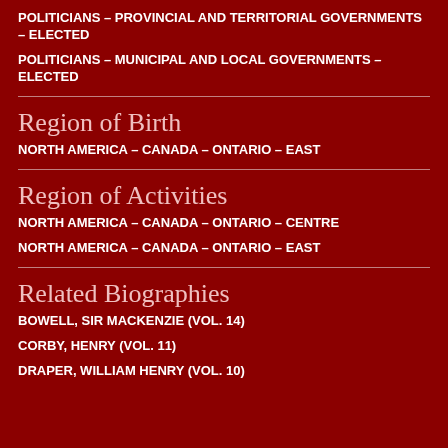POLITICIANS – PROVINCIAL AND TERRITORIAL GOVERNMENTS – ELECTED
POLITICIANS – MUNICIPAL AND LOCAL GOVERNMENTS – ELECTED
Region of Birth
NORTH AMERICA – CANADA – ONTARIO – EAST
Region of Activities
NORTH AMERICA – CANADA – ONTARIO – CENTRE
NORTH AMERICA – CANADA – ONTARIO – EAST
Related Biographies
BOWELL, SIR MACKENZIE (VOL. 14)
CORBY, HENRY (VOL. 11)
DRAPER, WILLIAM HENRY (VOL. 10)